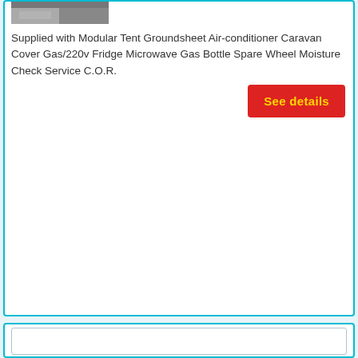[Figure (photo): Partial photo of a caravan/tent product, grayscale, top portion visible]
Supplied with Modular Tent Groundsheet Air-conditioner Caravan Cover Gas/220v Fridge Microwave Gas Bottle Spare Wheel Moisture Check Service C.O.R.
See details